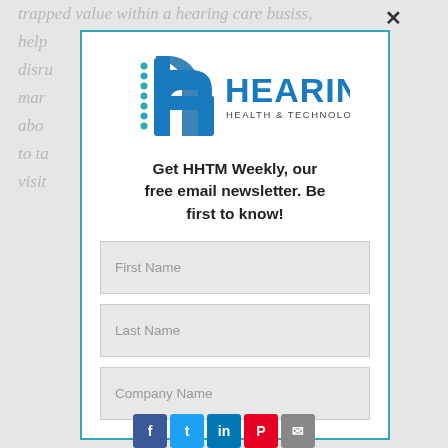trapped value within a hearing care business, helped disrupt marketing more about how to take novel, visit
[Figure (logo): Hearing Health & Technology Matters logo with stylized 'h' icon in teal and blue and text 'HEARING HEALTH & TECHNOLOGY MATTERS']
Get HHTM Weekly, our free email newsletter. Be first to know!
First Name
Last Name
Company Name